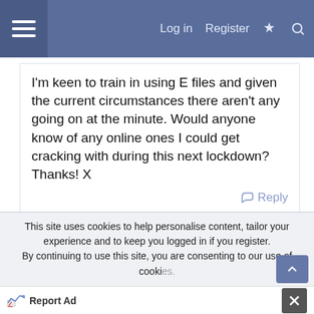Log in  Register
I'm keen to train in using E files and given the current circumstances there aren't any going on at the minute. Would anyone know of any online ones I could get cracking with during this next lockdown? Thanks! X
Reply
Advertisement
Advertisement
This site uses cookies to help personalise content, tailor your experience and to keep you logged in if you register.
By continuing to use this site, you are consenting to our use of cookies.
Report Ad